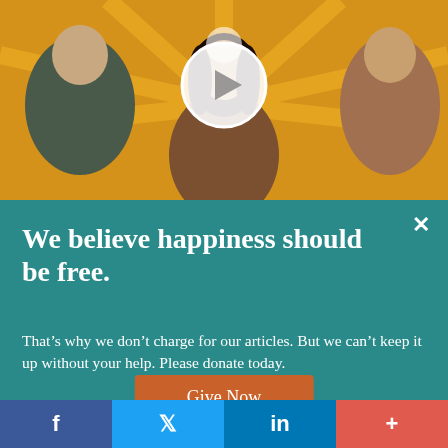[Figure (illustration): Illustrated people with a woman in center on yellow/orange background with a video play button circle overlay]
We believe happiness should be free.
That's why we don't charge for our articles. But we can't keep it up without your help. Please donate today.
Give Now
f  t  in  +